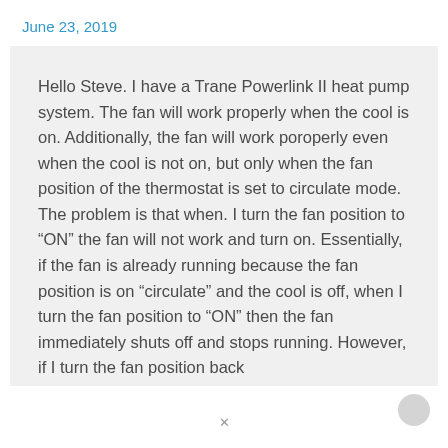June 23, 2019
Hello Steve. I have a Trane Powerlink II heat pump system. The fan will work properly when the cool is on. Additionally, the fan will work poroperly even when the cool is not on, but only when the fan position of the thermostat is set to circulate mode. The problem is that when. I turn the fan position to “ON” the fan will not work and turn on. Essentially, if the fan is already running because the fan position is on “circulate” and the cool is off, when I turn the fan position to “ON” then the fan immediately shuts off and stops running. However, if I turn the fan position back